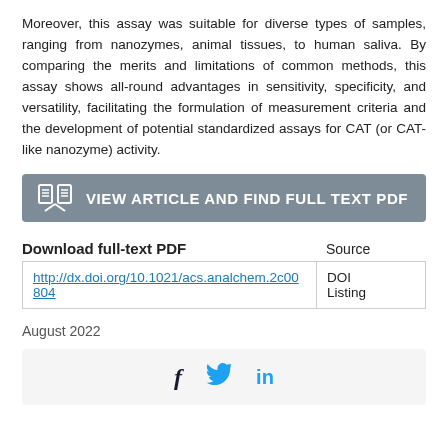Moreover, this assay was suitable for diverse types of samples, ranging from nanozymes, animal tissues, to human saliva. By comparing the merits and limitations of common methods, this assay shows all-round advantages in sensitivity, specificity, and versatility, facilitating the formulation of measurement criteria and the development of potential standardized assays for CAT (or CAT-like nanozyme) activity.
[Figure (other): Button with book icon and text: VIEW ARTICLE AND FIND FULL TEXT PDF]
| Download full-text PDF | Source |
| --- | --- |
| http://dx.doi.org/10.1021/acs.analchem.2c00804 | DOI Listing |
August 2022
[Figure (other): Social sharing icons: Facebook (f), Twitter (bird), LinkedIn (in)]